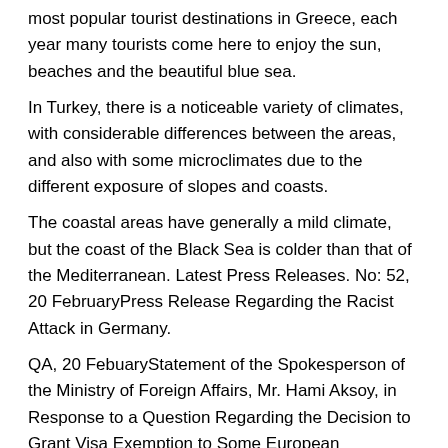most popular tourist destinations in Greece, each year many tourists come here to enjoy the sun, beaches and the beautiful blue sea.
In Turkey, there is a noticeable variety of climates, with considerable differences between the areas, and also with some microclimates due to the different exposure of slopes and coasts.
The coastal areas have generally a mild climate, but the coast of the Black Sea is colder than that of the Mediterranean. Latest Press Releases. No: 52, 20 FebruaryPress Release Regarding the Racist Attack in Germany.
QA, 20 FebuaryStatement of the Spokesperson of the Ministry of Foreign Affairs, Mr. Hami Aksoy, in Response to a Question Regarding the Decision to Grant Visa Exemption to Some European Countries.
In Karpathos, and in the neighboring islet of Saria, the climate is Mediterranean, with mild, rainy winters and hot, sunny le-jasmin-briancon.comhos is an island of the southeast Aegean Sea which belongs to the Dodecanese archipelago and has an area of square kilometers ( square miles).